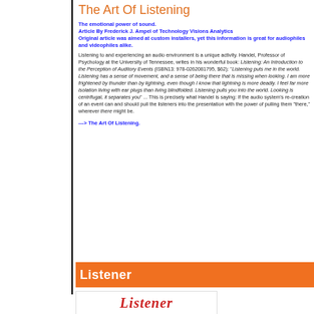The Art Of Listening
The emotional power of sound.
Article By Frederick J. Ampel of Technology Visions Analytics
Original article was aimed at custom installers, yet this information is great for audiophiles and videophiles alike.
Listening to and experiencing an audio environment is a unique activity. Handel, Professor of Psychology at the University of Tennessee, writes in his wonderful book: Listening: An Introduction to the Perception of Auditory Events (ISBN13: 978-0262081795, $62): "Listening puts me in the world. Listening has a sense of movement, and a sense of being there that is missing when looking. I am more frightened by thunder than by lightning, even though I know that lightning is more deadly. I feel far more isolation living with ear plugs than living blindfolded. Listening pulls you into the world. Looking is centrifugal, it separates you" ... This is precisely what Handel is saying: If the audio system's re-creation of an event can and should pull the listeners into the presentation with the power of pulling them "there," wherever there might be.
---> The Art Of Listening.
[Figure (other): Orange banner with white bold text reading 'Listener']
[Figure (logo): Listener logo in red italic serif font on white background]